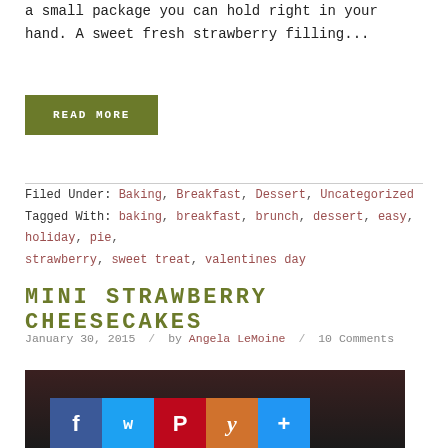a small package you can hold right in your hand. A sweet fresh strawberry filling...
READ MORE
Filed Under: Baking, Breakfast, Dessert, Uncategorized
Tagged With: baking, breakfast, brunch, dessert, easy, holiday, pie, strawberry, sweet treat, valentines day
MINI STRAWBERRY CHEESECAKES
January 30, 2015 / by Angela LeMoine / 10 Comments
[Figure (photo): Photo of mini strawberry cheesecakes with social sharing icons bar at the bottom]